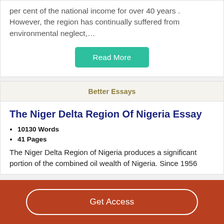per cent of the national income for over 40 years . However, the region has continually suffered from environmental neglect,…
Read More
Better Essays
The Niger Delta Region Of Nigeria Essay
10130 Words
41 Pages
The Niger Delta Region of Nigeria produces a significant portion of the combined oil wealth of Nigeria. Since 1956
Get Access